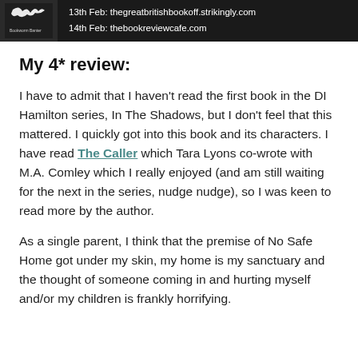[Figure (photo): Dark banner image with a book blog logo on the left (white splatter design on dark background with text 'Bookworm Banter') and white text on the right reading '13th Feb: thegreatbritishbookoff.strikingly.com' and '14th Feb: thebookreviewcafe.com']
My 4* review:
I have to admit that I haven't read the first book in the DI Hamilton series, In The Shadows, but I don't feel that this mattered. I quickly got into this book and its characters. I have read The Caller which Tara Lyons co-wrote with M.A. Comley which I really enjoyed (and am still waiting for the next in the series, nudge nudge), so I was keen to read more by the author.
As a single parent, I think that the premise of No Safe Home got under my skin, my home is my sanctuary and the thought of someone coming in and hurting myself and/or my children is frankly horrifying.